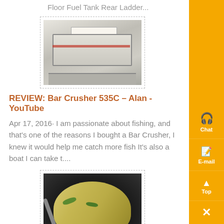Floor Fuel Tank Rear Ladder...
[Figure (photo): Industrial machine or crusher equipment, white/grey colored, shown outdoors]
REVIEW: Bar Crusher 535C – Alan - YouTube
Apr 17, 2016· I am passionate about fishing, and that's one of the reasons I bought a Bar Crusher, I knew it would help me catch more fish It's also a boat I can take t....
[Figure (photo): Food dish in a dark wok/pan showing noodles or vegetables with green herbs, with a wooden handle utensil]